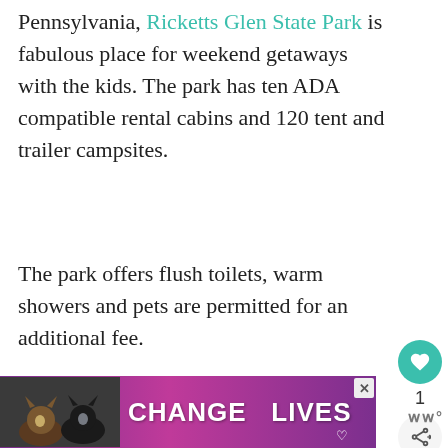Pennsylvania, Ricketts Glen State Park is fabulous place for weekend getaways with the kids. The park has ten ADA compatible rental cabins and 120 tent and trailer campsites.
The park offers flush toilets, warm showers and pets are permitted for an additional fee.
The park's many amenities include a swimming lake, the best day hiking trails in Pennsylvania with waterfalls all along the trail, boating, kayaking, canoeing, and
[Figure (screenshot): UI sidebar with heart/favorite button (teal circle with heart icon), count of 1, and share button (circle with share icon)]
[Figure (infographic): WHAT'S NEXT card showing a thumbnail with purple/orange outdoor scene and text 'Family Friendly...' with an arrow]
[Figure (photo): Advertisement banner with purple gradient background, two cats silhouettes, text 'CHANGE LIVES' in white bold letters, close X button, and a heart icon]